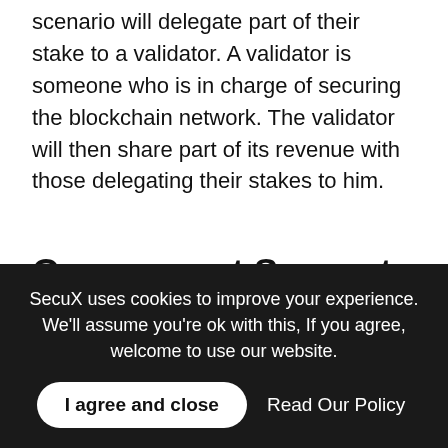scenario will delegate part of their stake to a validator. A validator is someone who is in charge of securing the blockchain network. The validator will then share part of its revenue with those delegating their stakes to him.
Government Support
Support from the government
Numerous governments around the globe also have started supporting blockchain technology. For example, the Chinese government has created an official
SecuX uses cookies to improve your experience. We'll assume you're ok with this, If you agree, welcome to use our website.